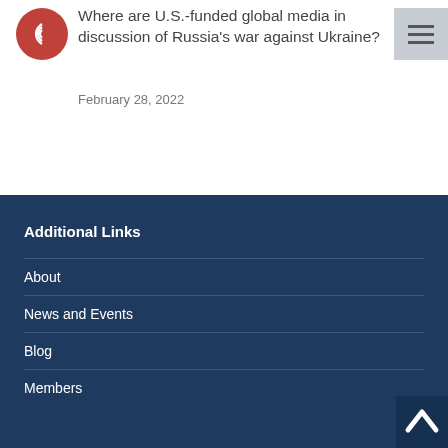Where are U.S.-funded global media in discussion of Russia's war against Ukraine?
February 28, 2022
Additional Links
About
News and Events
Blog
Members